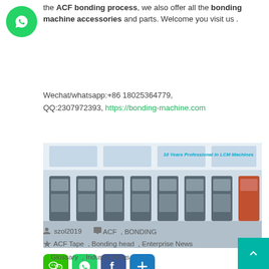[Figure (logo): WhatsApp green circle icon button on left side]
the ACF bonding process, we also offer all the bonding machine accessories and parts. Welcome you visit us .
Wechat/whatsapp:+86 18025364779, QQ:2307972393, https://bonding-machine.com
[Figure (photo): Factory floor with rows of LCM bonding machines. Text overlay: '10 Years Professional In LCM Machines']
[Figure (infographic): Four social media/sharing icons: WeChat, WhatsApp, Facebook, Share (+)]
szol2019   ACF , BONDING
ACF Tape , Bonding head , Enterprise News , Glossary , Industry News